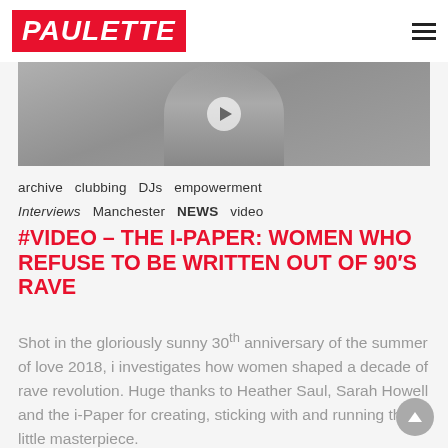PAULETTE
[Figure (photo): Black and white photo of a person wearing headphones, cropped at the neck/chest area. A play button icon is visible, suggesting a video thumbnail.]
archive  clubbing  DJs  empowerment
Interviews  Manchester  NEWS  video
#VIDEO – THE I-PAPER: WOMEN WHO REFUSE TO BE WRITTEN OUT OF 90′S RAVE
Shot in the gloriously sunny 30th anniversary of the summer of love 2018, i investigates how women shaped a decade of rave revolution. Huge thanks to Heather Saul, Sarah Howell and the i-Paper for creating, sticking with and running this little masterpiece.